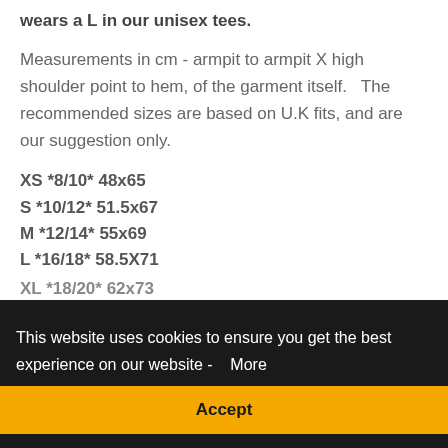wears a L in our unisex tees.
Measurements in cm - armpit to armpit X high shoulder point to hem, of the garment itself.   The recommended sizes are based on U.K fits, and are our suggestion only.
XS *8/10* 48x65
S *10/12* 51.5x67
M *12/14* 55x69
L *16/18* 58.5X71
XL *18/20* 62x73
This website uses cookies to ensure you get the best experience on our website -  More
Accept